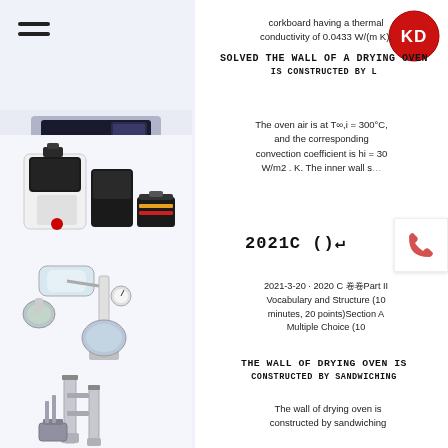[Figure (photo): Hamburger menu icon (three horizontal lines) at top left]
[Figure (logo): KD logo — red circle with white KD text]
[Figure (photo): Product image 1: dark electronic device/panel on light background]
[Figure (photo): Product image 2: white lab equipment (centrifuge/grinder) with black toolbox]
[Figure (photo): Product image 3: white rotary evaporator / industrial lab equipment]
[Figure (photo): Product image 4: industrial distillation column / tower equipment]
corkboard having a thermal conductivity of 0.0433 W/(m K).
SOLVED THE WALL OF A DRYING OVEN is constructed by l
The oven air is at T∞,i = 300°C, and the corresponding convection coefficient is hi = 30 W/m2 . K. The inner wall s…
2021C()↵
2021-3-20 · 2020 C 卷卷Part II Vocabulary and Structure (10 minutes, 20 points)Section A Multiple Choice (10
THE WALL OF DRYING OVEN IS CONSTRUCTED BY SANDWICHING
The wall of drying oven is constructed by sandwiching